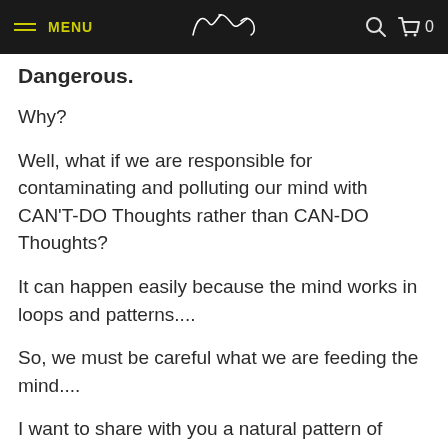MENU  [logo]  [search] [cart] 0
Dangerous.
Why?
Well, what if we are responsible for contaminating and polluting our mind with CAN'T-DO Thoughts rather than CAN-DO Thoughts?
It can happen easily because the mind works in loops and patterns....
So, we must be careful what we are feeding the mind....
I want to share with you a natural pattern of thought that I have...